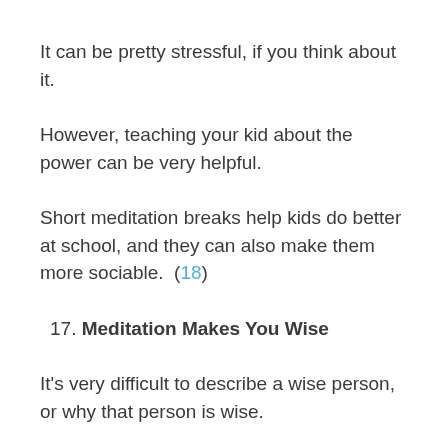It can be pretty stressful, if you think about it.
However, teaching your kid about the power can be very helpful.
Short meditation breaks help kids do better at school, and they can also make them more sociable.  (18)
17. Meditation Makes You Wise
It's very difficult to describe a wise person, or why that person is wise.